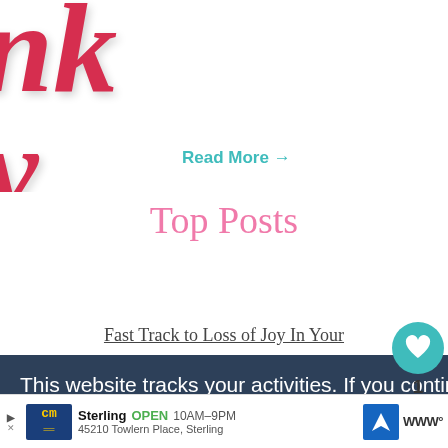[Figure (illustration): Partial script/handwritten text in red cursive reading 'nk y' (part of 'thank you'), cropped on left side of page]
Read More →
Top Posts
Fast Track to Loss of Joy In Your
This website tracks your activities. If you continue browsing the site, you're giving us consent to track your activity
[Figure (other): Teal circular heart/like button widget showing count of 1, with share icon below]
[Figure (other): WHAT'S NEXT → Contact navigation element with pink circle labeled Contact]
[Figure (other): Green Continue Browsing button bar (partially visible)]
[Figure (other): Advertisement banner: CM logo, Sterling OPEN 10AM-9PM, 45210 Towlern Place Sterling, with navigation icon and W logo]